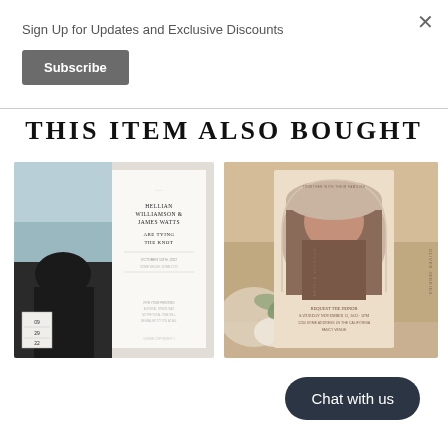Sign Up for Updates and Exclusive Discounts
Subscribe
THIS ITEM ALSO BOUGHT
[Figure (photo): Wedding save-the-date card with couple photo on left and elegant text panel on right reading HELLIAN WILLIAMSON & JAMES WATTS ARE TYING THE KNOT with date box showing 09 29 22]
[Figure (photo): Boho wedding invitation card with arch-shaped couple photo, floral background, warm beige tones with vertical side text]
Chat with us